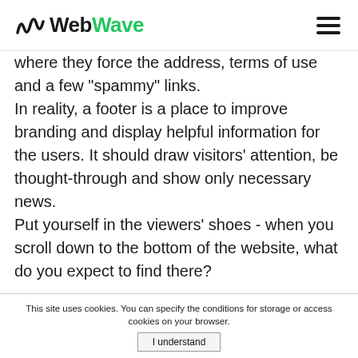WebWave
where they force the address, terms of use and a few "spammy" links. In reality, a footer is a place to improve branding and display helpful information for the users. It should draw visitors' attention, be thought-through and show only necessary news.
Put yourself in the viewers' shoes - when you scroll down to the bottom of the website, what do you expect to find there?
An answer to this question is crucial to design a perfect footer.
This site uses cookies. You can specify the conditions for storage or access cookies on your browser.
I understand